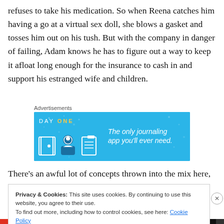refuses to take his medication. So when Reena catches him having a go at a virtual sex doll, she blows a gasket and tosses him out on his tush. But with the company in danger of failing, Adam knows he has to figure out a way to keep it afloat long enough for the insurance to cash in and support his estranged wife and children.
Advertisements
[Figure (infographic): DAY ONE journaling app advertisement on blue background with icons and text 'The only journaling app you'll ever need.']
There's an awful lot of concepts thrown into the mix here,
Privacy & Cookies: This site uses cookies. By continuing to use this website, you agree to their use.
To find out more, including how to control cookies, see here: Cookie Policy
Close and accept